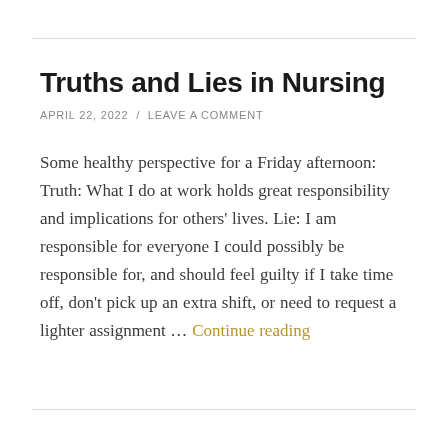Truths and Lies in Nursing
APRIL 22, 2022  /  LEAVE A COMMENT
Some healthy perspective for a Friday afternoon: Truth: What I do at work holds great responsibility and implications for others' lives. Lie: I am responsible for everyone I could possibly be responsible for, and should feel guilty if I take time off, don't pick up an extra shift, or need to request a lighter assignment … Continue reading